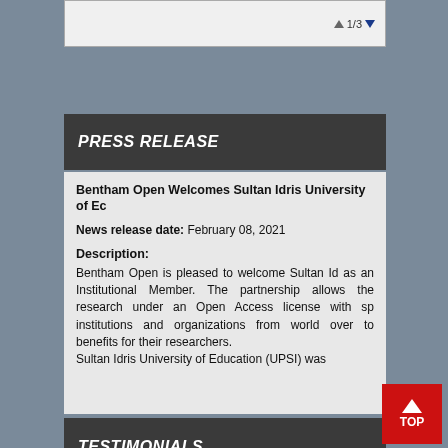[Figure (screenshot): Top portion of a webpage showing navigation with 1/3 indicator with up/down triangles]
PRESS RELEASE
Bentham Open Welcomes Sultan Idris University of Education (UPSI)
News release date: February 08, 2021
Description:
Bentham Open is pleased to welcome Sultan Idris University of Education as an Institutional Member. The partnership allows the university to publish their research under an Open Access license with special benefits. Bentham Open welcomes institutions and organizations from world over to become Institutional Members and avail the benefits for their researchers. Sultan Idris University of Education (UPSI) was
TESTIMONIALS
"Open access will revolutionize 21st century knowledge and evidence that support just in time learning